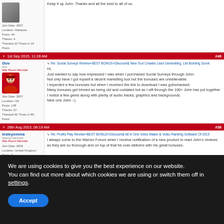Keep it up John. Thanks and all the best to all of us.
1st Sep 2015, 11:28 AM | #49
Guv | Phil | War Room Member
Re: Social Surveys Review+BEST BONUS+Discount& New Tool Creates Lead Generating, List Building Surve

Hi,
Just wanted to say how impressed I was when I purchased Social Surveys through John.
Not only have I got myself a decent marketing tool but the bonuses are unbelievable.
I expected a few bonuses but when I received the link to download I was gobsmacked.
Many bonuses get binned as being old and outdated but as I sift through the 100+ John has put together I notice a few gems along with plenty of audio tracks, graphics and backgrounds.
Nice one John :-)
28th Aug 2015, 06:19 AM | #36
lesleyemma | Warrior Member | War Room Member
Re: Profits Play Review+BEST BONUS+Discount& All in One Video Maker & Video Ranking Software Of 2015

I always come to the Warrior Forum when I receive notification of a new product to read John's reviews as they are so thorough and on top of that he over-delivers with his great bonuses.
31st Aug 2015, 01:47 PM | #87
hypnot | Active Warrior | War Room Member
Re: Profits Play Review+BEST BONUS+Discounts All-In-One Video-Maker & Video-Ranking Software Of 2015

This is not the first time that I have had dealings with John, but again he produced a great review and has responded promptly to my bonus request and has massively overdelivered. This is going to take me all day to download them, but there's so much great stuff there that it will be well worth the wait.
We are using cookies to give you the best experience on our website.
You can find out more about which cookies we are using or switch them off in settings.
Accept